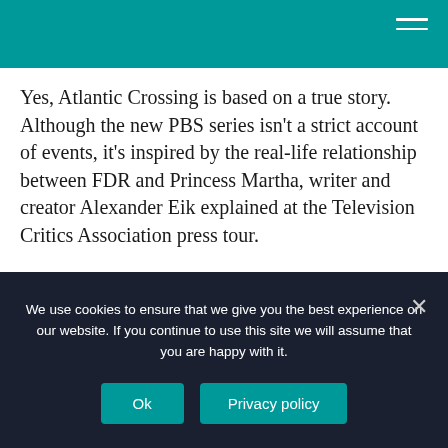Yes, Atlantic Crossing is based on a true story. Although the new PBS series isn't a strict account of events, it's inspired by the real-life relationship between FDR and Princess Martha, writer and creator Alexander Eik explained at the Television Critics Association press tour.
What is PBS Atlantic Crossing about?
We use cookies to ensure that we give you the best experience on our website. If you continue to use this site we will assume that you are happy with it.